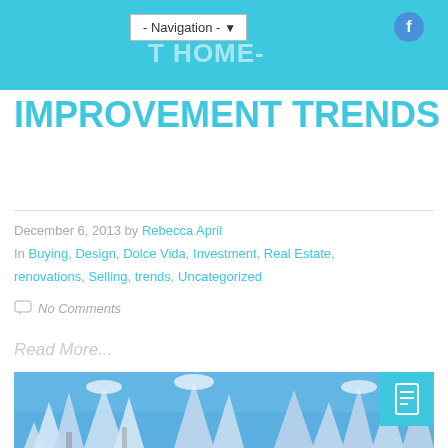- Navigation - | SEVEN HOT HOME-
IMPROVEMENT TRENDS
December 6, 2013 by Rebecca April
In Buying, Design, Dolce Vida, Investment, Real Estate, renovations, Selling, trends, Uncategorized
No Comments
Read More...
[Figure (photo): Winter scene with snow-covered trees against a blue sky]